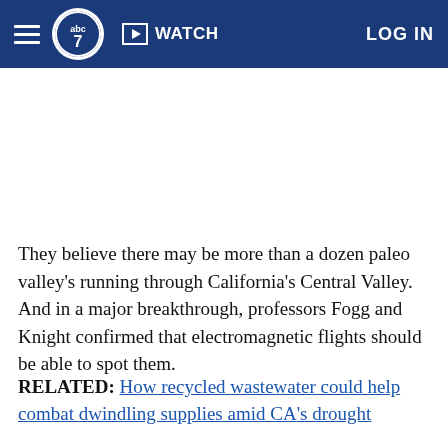ABC7 | WATCH | LOG IN
They believe there may be more than a dozen paleo valley's running through California's Central Valley. And in a major breakthrough, professors Fogg and Knight confirmed that electromagnetic flights should be able to spot them.
RELATED: How recycled wastewater could help combat dwindling supplies amid CA's drought